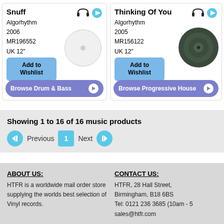Snuff
Algorhythm
2006
MR196552
UK 12"
Add to Wishlist
Browse Drum & Bass
Thinking Of You
Algorhythm
2005
MR156122
UK 12"
Add to Wishlist
Browse Progressive House
Showing 1 to 16 of 16 music products
Previous  1  Next
ABOUT US:
HTFR is a worldwide mail order store supplying the worlds best selection of Vinyl records.
CONTACT US:
HTFR, 28 Hall Street, Birmingham, B18 6BS
Tel: 0121 236 3685 (10am - 5
sales@htfr.com
All orders subject to our terms & conditions © 2022 HTFR - all rights reserved